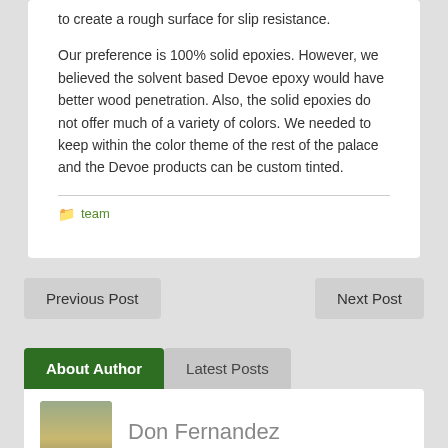to create a rough surface for slip resistance.
Our preference is 100% solid epoxies.  However, we believed the solvent based Devoe epoxy would have better wood penetration.   Also, the solid epoxies do not offer much of a variety of colors.   We needed to keep within the color theme of the rest of the palace and the Devoe products can be custom tinted.
team
Previous Post
Next Post
About Author
Latest Posts
Don Fernandez